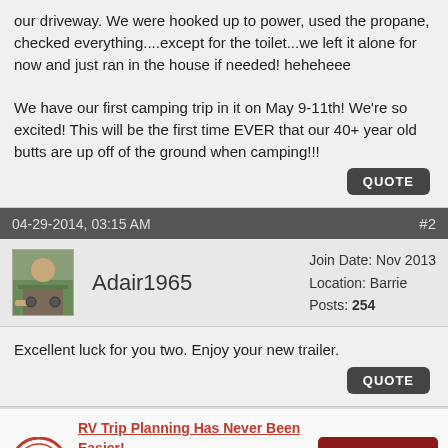our driveway. We were hooked up to power, used the propane, checked everything....except for the toilet...we left it alone for now and just ran in the house if needed! heheheee

We have our first camping trip in it on May 9-11th! We're so excited! This will be the first time EVER that our 40+ year old butts are up off of the ground when camping!!!
04-29-2014, 03:15 AM #2
Adair1965 Join Date: Nov 2013 Location: Barrie Posts: 254
Excellent luck for you two. Enjoy your new trailer.
[Figure (infographic): RV Trip Planning advertisement with logo, text, and Try it for Free button]
RV Trip Planning Has Never Been Easier! Save time, plan RV safe routes, and find great campgrounds with RV LIFE Trip Wizard!